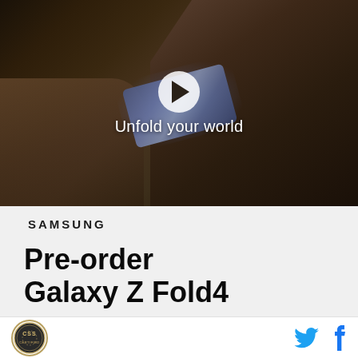[Figure (screenshot): Video thumbnail showing a woman in a car holding a Samsung Galaxy Z Fold4 phone with text 'Unfold your world' and a play button overlay]
SAMSUNG
Pre-order
Galaxy Z Fold4
[Figure (logo): CSS circular badge/seal logo in bottom left footer]
[Figure (other): Twitter and Facebook social media icons in bottom right footer]